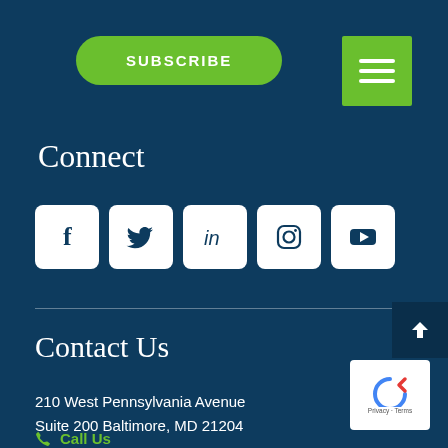[Figure (other): Green SUBSCRIBE button with rounded pill shape on dark navy background]
[Figure (other): Green hamburger/menu icon button (three horizontal white lines) in top right corner]
Connect
[Figure (other): Row of five white rounded square social media icons: Facebook (f), Twitter (bird), LinkedIn (in), Instagram (camera), YouTube (play button) on dark navy background]
Contact Us
210 West Pennsylvania Avenue
Suite 200 Baltimore, MD 21204
Call Us